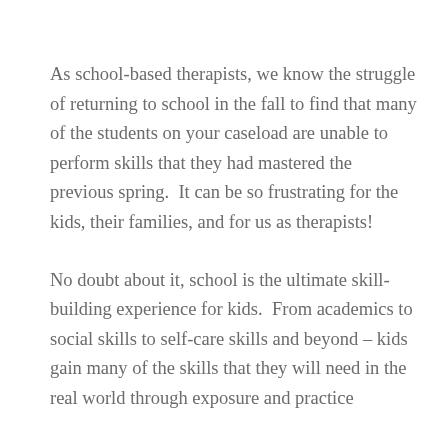As school-based therapists, we know the struggle of returning to school in the fall to find that many of the students on your caseload are unable to perform skills that they had mastered the previous spring.  It can be so frustrating for the kids, their families, and for us as therapists!
No doubt about it, school is the ultimate skill-building experience for kids.  From academics to social skills to self-care skills and beyond – kids gain many of the skills that they will need in the real world through exposure and practice at school.